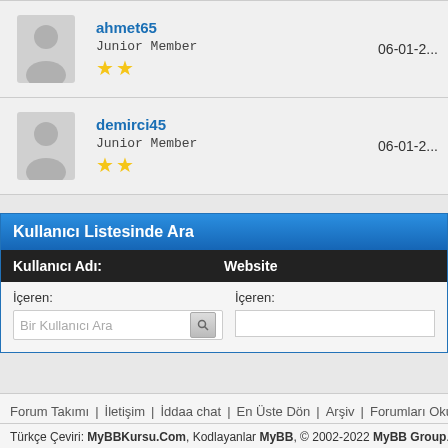| Avatar | Username/Member info | Date |
| --- | --- | --- |
| [avatar] | ahmet65
Junior Member
★★ | 06-01-2... |
| [avatar] | demirci45
Junior Member
★★ | 06-01-2... |
Kullanıcı Listesinde Ara
| Kullanıcı Adı: | Website |
| --- | --- |
| İçeren: [Bir Kullanıcı Ara] | İçeren: [] |
Forum Takımı   İletişim   İddaa chat   En Üste Dön   Arşiv   Forumları Okundu İ...
Türkçe Çeviri: MyBBKursu.Com, Kodlayanlar MyBB, © 2002-2022 MyBB Group.